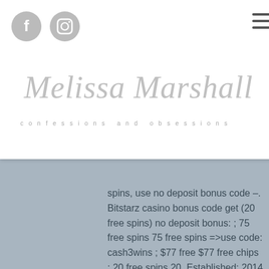[Figure (logo): Melissa Marshall confessions and obsessions blog logo with Facebook and Instagram icons and hamburger menu]
keep arz no bling btc, eposit spins, use no deposit bonus code –. Bitstarz casino bonus code get (20 free spins) no deposit bonus: ; 75 free spins 75 free spins =&gt;use code: cash3wins ; $77 free $77 free chips ; 20 free spins 20. Established: 2014 · country: cyprus · support: support@bitstarz. Minimum deposit: $20 · deposit bonus: 20. Bonus code: no code required deposit €30/mbtc3 and get 20 free spins. 5 and get 80 free spins. Bitstarz casino no deposit bonuses 2021 exclusive 30 no deposit. At all you have 6 chances to spin the wheel. The worth is dependent upon the sum of all reached positions at the map that are added, bitstarz free bonus codes